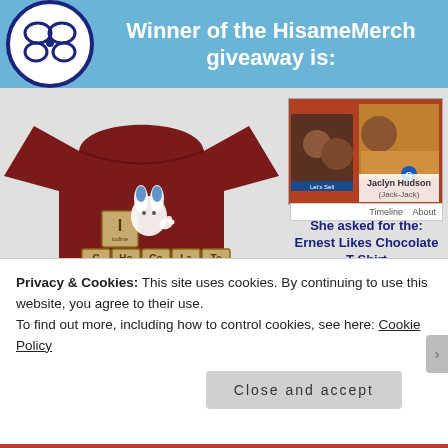Winner of the HisameMerch giveaway is:
[Figure (photo): Dark red t-shirt with chocolate periodic table elements design and cartoon rabbit character]
[Figure (photo): Facebook profile photo of Jaclyn Hudson (Jack-Jack) showing two people in photos]
She asked for the: Ernest Likes Chocolate T-Shirt
Congratulations! And thank you for participating!
Privacy & Cookies: This site uses cookies. By continuing to use this website, you agree to their use.
To find out more, including how to control cookies, see here: Cookie Policy
Close and accept